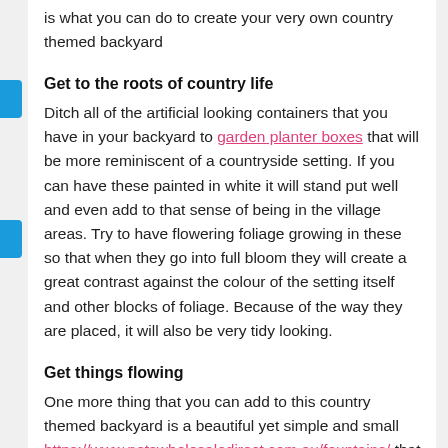is what you can do to create your very own country themed backyard
Get to the roots of country life
Ditch all of the artificial looking containers that you have in your backyard to garden planter boxes that will be more reminiscent of a countryside setting. If you can have these painted in white it will stand put well and even add to that sense of being in the village areas. Try to have flowering foliage growing in these so that when they go into full bloom they will create a great contrast against the colour of the setting itself and other blocks of foliage. Because of the way they are placed, it will also be very tidy looking.
Get things flowing
One more thing that you can add to this country themed backyard is a beautiful yet simple and small https://www.potswholesaledirect.com.au/fountains/ that will give it more life and also a sparkling vibrancy when the sun hits the flow. You do not have to go too big or plush